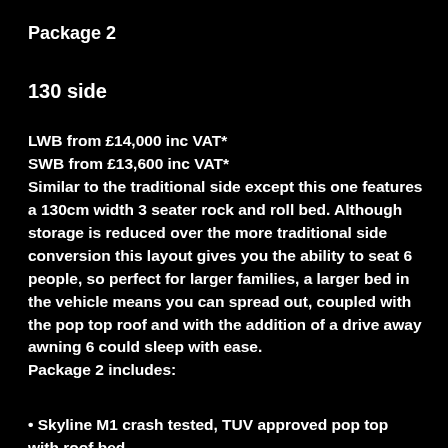Package 2
130 side
LWB from £14,000 inc VAT*
SWB from £13,600 inc VAT*
Similar to the traditional side except this one features a 130cm width 3 seater rock and roll bed. Although storage is reduced over the more traditional side conversion this layout gives you the ability to seat 6 people, so perfect for larger families, a larger bed in the vehicle means you can spread out, coupled with the pop top roof and with the addition of a drive away awning 6 could sleep with ease.
Package 2 includes:
• Skyline M1 crash tested, TUV approved pop top with roof bed